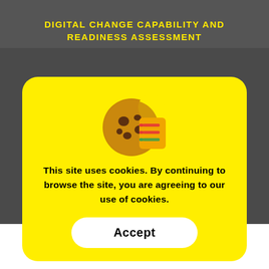DIGITAL CHANGE CAPABILITY AND READINESS ASSESSMENT
[Figure (other): Cookie consent modal overlay on a website. Shows a cookie icon (bitten cookie with a small checklist icon overlay), bold text reading 'This site uses cookies. By continuing to browse the site, you are agreeing to our use of cookies.' and a white rounded Accept button. Yellow background with rounded corners.]
This site uses cookies. By continuing to browse the site, you are agreeing to our use of cookies.
Accept
[Figure (logo): OneCircle logo in yellow and white text on dark background]
0 SHARES